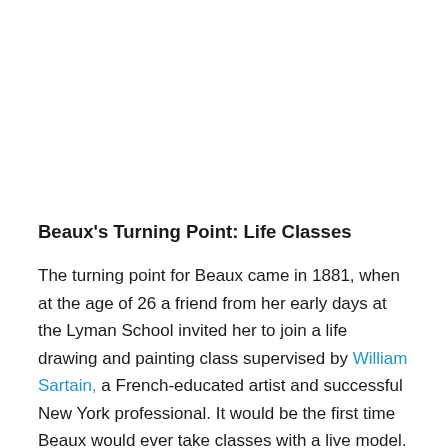Beaux's Turning Point: Life Classes
The turning point for Beaux came in 1881, when at the age of 26 a friend from her early days at the Lyman School invited her to join a life drawing and painting class supervised by William Sartain, a French-educated artist and successful New York professional. It would be the first time Beaux would ever take classes with a live model. She clicked with Sartain's gentle style. Beaux began painting